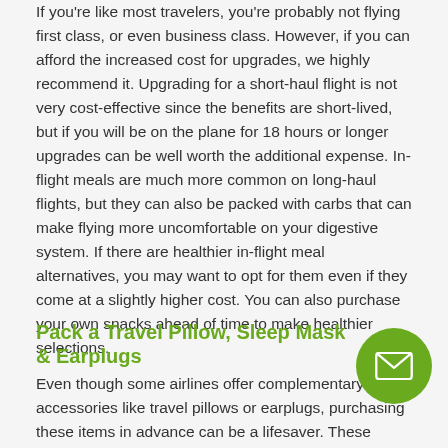If you're like most travelers, you're probably not flying first class, or even business class. However, if you can afford the increased cost for upgrades, we highly recommend it. Upgrading for a short-haul flight is not very cost-effective since the benefits are short-lived, but if you will be on the plane for 18 hours or longer upgrades can be well worth the additional expense. In-flight meals are much more common on long-haul flights, but they can also be packed with carbs that can make flying more uncomfortable on your digestive system. If there are healthier in-flight meal alternatives, you may want to opt for them even if they come at a slightly higher cost. You can also purchase your own snacks ahead of time to make healthier selections.
Pack a Travel Pillow, Sleep Mask & Earplugs
Even though some airlines offer complementary travel accessories like travel pillows or earplugs, purchasing these items in advance can be a lifesaver. These types of